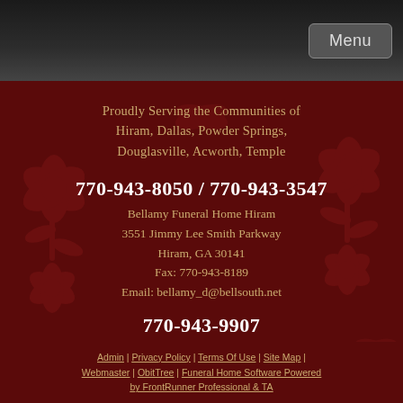Menu
Proudly Serving the Communities of Hiram, Dallas, Powder Springs, Douglasville, Acworth, Temple
770-943-8050 / 770-943-3547
Bellamy Funeral Home Hiram
3551 Jimmy Lee Smith Parkway
Hiram, GA 30141
Fax: 770-943-8189
Email: bellamy_d@bellsouth.net
770-943-9907
Paulding Memorial Gardens
3566 Jimmy Lee Smith Parkway
Hiram, GA 30141
Admin | Privacy Policy | Terms Of Use | Site Map | Webmaster | ObitTree | Funeral Home Software Powered by FrontRunner Professional & TA